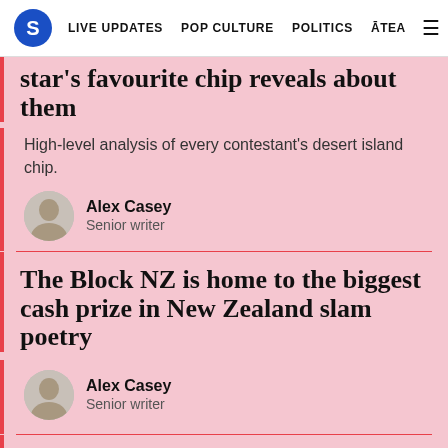S | LIVE UPDATES | POP CULTURE | POLITICS | ĀTEA
star's favourite chip reveals about them
High-level analysis of every contestant's desert island chip.
Alex Casey
Senior writer
The Block NZ is home to the biggest cash prize in New Zealand slam poetry
Alex Casey
Senior writer
Sound the clarions, House of the Dragon is great
Catherine McGregor
Deputy Editor